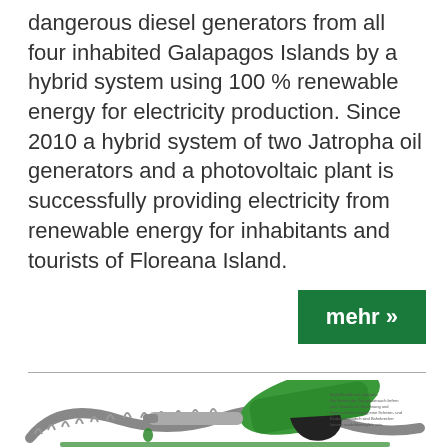dangerous diesel generators from all four inhabited Galapagos Islands by a hybrid system using 100 % renewable energy for electricity production. Since 2010 a hybrid system of two Jatropha oil generators and a photovoltaic plant is successfully providing electricity from renewable energy for inhabitants and tourists of Floreana Island.
mehr »
[Figure (photo): A green fuel pump nozzle with a drop of green liquid falling from its tip, shown against a white background, with small text overlay on the right side of the image.]